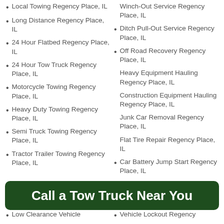Local Towing Regency Place, IL
Winch-Out Service Regency Place, IL
Long Distance Regency Place, IL
Ditch Pull-Out Service Regency Place, IL
24 Hour Flatbed Regency Place, IL
Off Road Recovery Regency Place, IL
24 Hour Tow Truck Regency Place, IL
Heavy Equipment Hauling Regency Place, IL
Motorcycle Towing Regency Place, IL
Construction Equipment Hauling Regency Place, IL
Heavy Duty Towing Regency Place, IL
Junk Car Removal Regency Place, IL
Semi Truck Towing Regency Place, IL
Flat Tire Repair Regency Place, IL
Tractor Trailer Towing Regency Place, IL
Car Battery Jump Start Regency Place, IL
[Figure (other): Green rounded-rectangle call-to-action button with white bold text: Call a Tow Truck Near You]
Low Clearance Vehicle
Vehicle Lockout Regency